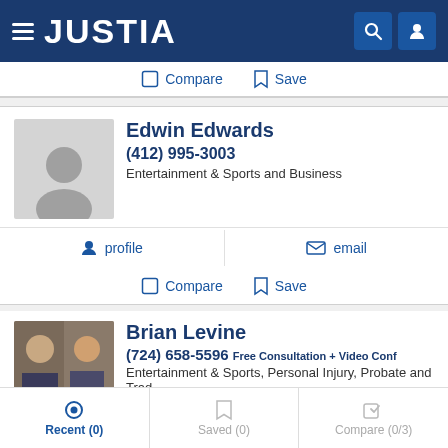JUSTIA
Compare   Save
Edwin Edwards
(412) 995-3003
Entertainment & Sports and Business
profile   email
Compare   Save
Brian Levine
(724) 658-5596 Free Consultation + Video Conf
Entertainment & Sports, Personal Injury, Probate and Trad...
profile   email
Recent (0)   Saved (0)   Compare (0/3)